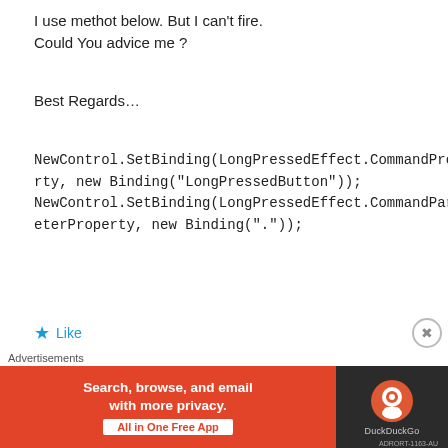I use methot below. But I can't fire.
Could You advice me ?
Best Regards…
NewControl.SetBinding(LongPressedEffect.CommandProperty, new Binding("LongPressedButton"));
NewControl.SetBinding(LongPressedEffect.CommandParameterProperty, new Binding("."));
Like
REPLY
[Figure (screenshot): DuckDuckGo advertisement banner: orange section with text 'Search, browse, and email with more privacy. All in One Free App' and dark section with DuckDuckGo logo. Advertisements label above. Close button (X circle) visible at right.]